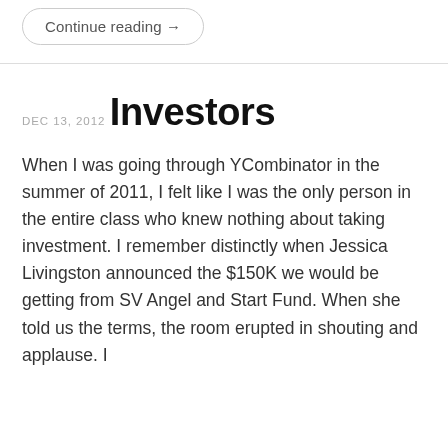Continue reading →
DEC 13, 2012
Investors
When I was going through YCombinator in the summer of 2011, I felt like I was the only person in the entire class who knew nothing about taking investment. I remember distinctly when Jessica Livingston announced the $150K we would be getting from SV Angel and Start Fund. When she told us the terms, the room erupted in shouting and applause. I